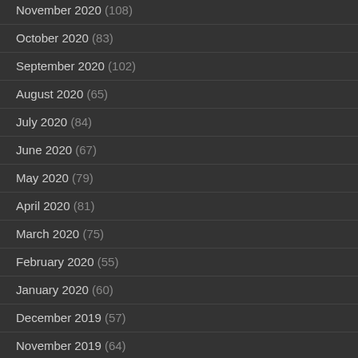November 2020 (108)
October 2020 (83)
September 2020 (102)
August 2020 (65)
July 2020 (84)
June 2020 (67)
May 2020 (79)
April 2020 (81)
March 2020 (75)
February 2020 (55)
January 2020 (60)
December 2019 (57)
November 2019 (64)